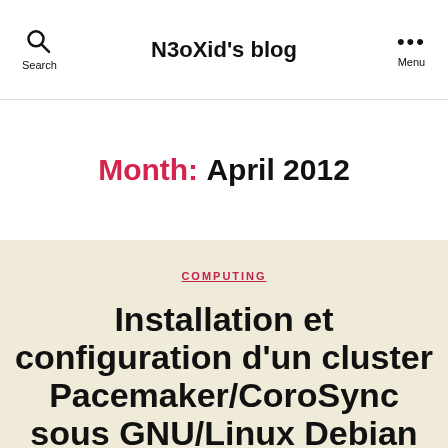N3oXid's blog
Month: April 2012
COMPUTING
Installation et configuration d'un cluster Pacemaker/CoroSync sous GNU/Linux Debian